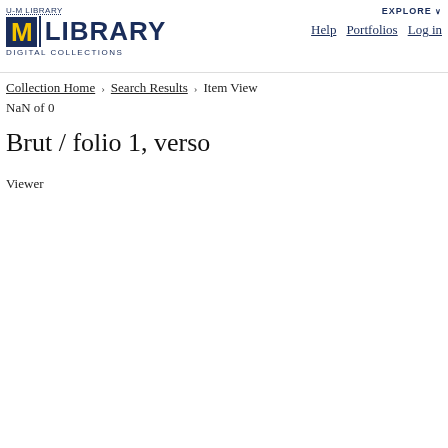U-M LIBRARY | LIBRARY DIGITAL COLLECTIONS — EXPLORE Help Portfolios Log in
Collection Home › Search Results › Item View
NaN of 0
Brut / folio 1, verso
Viewer